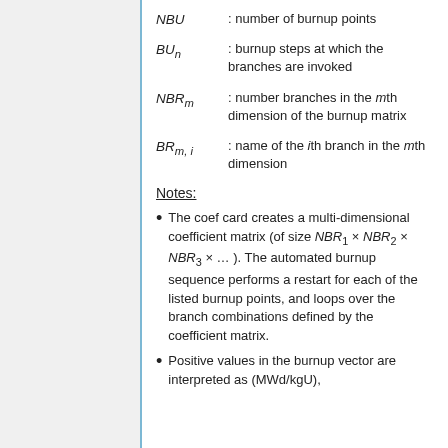NBU : number of burnup points
BU_n : burnup steps at which the branches are invoked
NBR_m : number branches in the mth dimension of the burnup matrix
BR_{m,i} : name of the ith branch in the mth dimension
Notes:
The coef card creates a multi-dimensional coefficient matrix (of size NBR_1 × NBR_2 × NBR_3 × ... ). The automated burnup sequence performs a restart for each of the listed burnup points, and loops over the branch combinations defined by the coefficient matrix.
Positive values in the burnup vector are interpreted as (MWd/kgU),